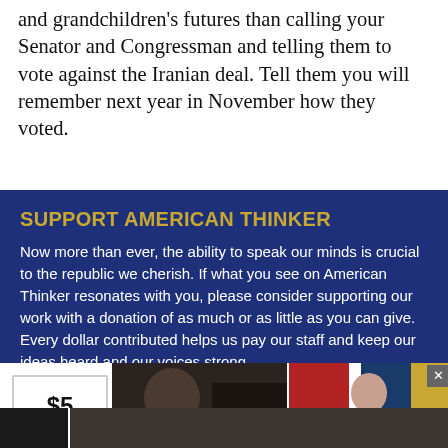and grandchildren's futures than calling your Senator and Congressman and telling them to vote against the Iranian deal. Tell them you will remember next year in November how they voted.
SUPPORT AMERICAN THINKER
Now more than ever, the ability to speak our minds is crucial to the republic we cherish. If what you see on American Thinker resonates with you, please consider supporting our work with a donation of as much or as little as you can give. Every dollar contributed helps us pay our staff and keep our ideas heard and our voices strong.
Thank you.
[Figure (other): Advertisement strip showing a $5 donation button, two news thumbnails: 'A Tragic End Today For Willie Nelson - Breaking News' and 'Dems Raid Mar-A-Lago when They Should b... - Infected', with a close button (x), and partial dark image strips at the very bottom.]